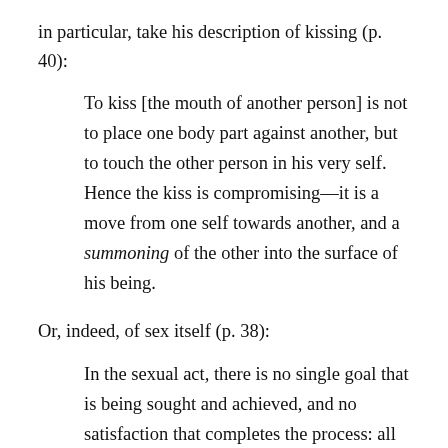in particular, take his description of kissing (p. 40):
To kiss [the mouth of another person] is not to place one body part against another, but to touch the other person in his very self. Hence the kiss is compromising—it is a move from one self towards another, and a summoning of the other into the surface of his being.
Or, indeed, of sex itself (p. 38):
In the sexual act, there is no single goal that is being sought and achieved, and no satisfaction that completes the process: all goals are provisional,